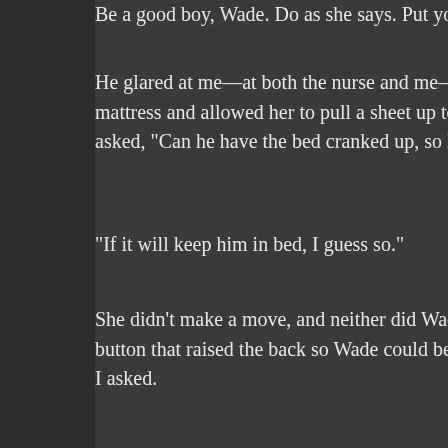Be a good boy, Wade. Do as she says. Put yo...
He glared at me—at both the nurse and me—b... mattress and allowed her to pull a sheet up to h... asked, "Can he have the bed cranked up, so he...
“If it will keep him in bed, I guess so.”
She didn't make a move, and neither did Wade,... button that raised the back so Wade could be in... I asked.
He grumbled, but gave a slight nod, then wince...
He had a four-inch square bandage on his foreh... discoloration along the side of his face, but it wa... the pillow behind him and grimaced that I knew... been injured.